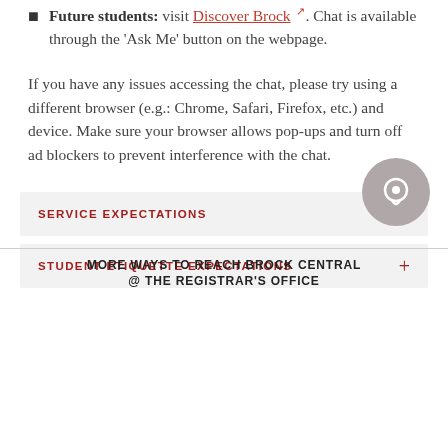Future students: visit Discover Brock. Chat is available through the 'Ask Me' button on the webpage.
If you have any issues accessing the chat, please try using a different browser (e.g.: Chrome, Safari, Firefox, etc.) and device. Make sure your browser allows pop-ups and turn off ad blockers to prevent interference with the chat.
SERVICE EXPECTATIONS
STUDENT ETIQUETTE EXPECTATIONS
[Figure (illustration): Gray circular chat icon]
MORE WAYS TO REACH BROCK CENTRAL @ THE REGISTRAR'S OFFICE